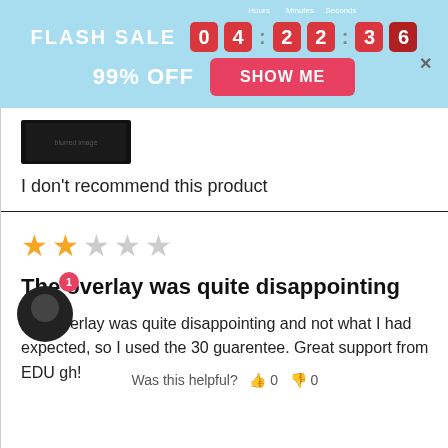[Figure (screenshot): Flash sale countdown banner: FLASH SALE 04:22:36, 99% OFF, SHOW ME button, light blue background with geometric shapes]
[Figure (photo): Dark thumbnail image of a product]
I don't recommend this product
[Figure (other): 2 out of 5 stars rating]
The overlay was quite disappointing
The overlay was quite disappointing and not what I had expected, so I used the 30 guarantee. Great support from EDU gh!
Was this helpful?  0  0